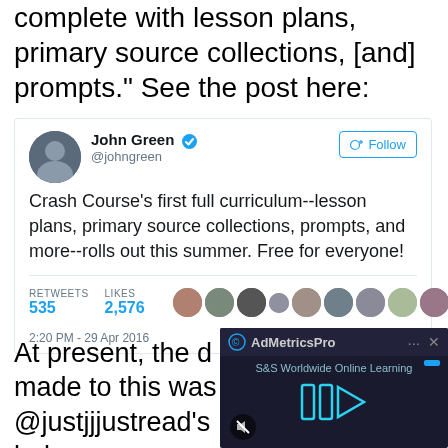complete with lesson plans, primary source collections, [and] prompts.” See the post here:
[Figure (screenshot): Tweet from John Green (@johngreen) with verified badge and Follow button. Tweet text: Crash Course's first full curriculum--lesson plans, primary source collections, prompts, and more--rolls out this summer. Free for everyone! 535 Retweets, 2,576 Likes. Timestamp: 2:20 PM - 29 Apr 2016. Row of user avatars shown. An AdMetricsPro video ad overlay is partially visible in the lower right with S&S Worldwide Online Learning branding and a play icon.]
At present, the d made to this was @justjjjustread’s below: